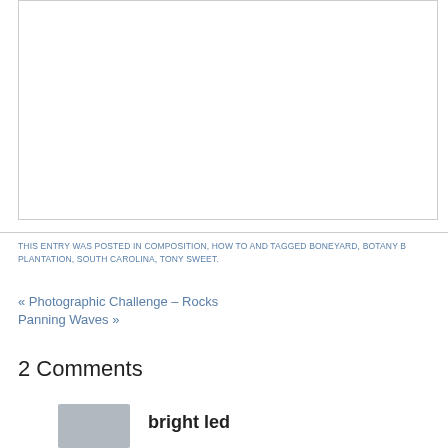[Figure (other): White rectangular image box with light gray border]
THIS ENTRY WAS POSTED IN COMPOSITION, HOW TO AND TAGGED BONEYARD, BOTANY B PLANTATION, SOUTH CAROLINA, TONY SWEET.
« Photographic Challenge – Rocks
Panning Waves »
2 Comments
bright led